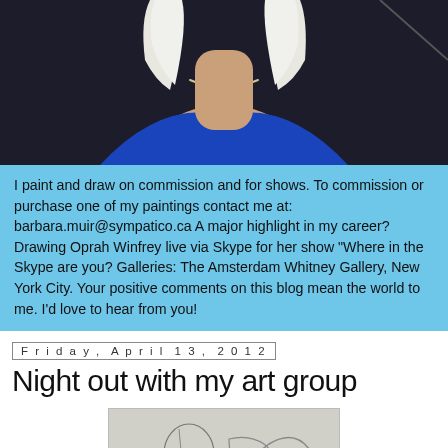[Figure (photo): Partial portrait of a person with white/blonde hair, wearing a blue top and pearl necklace, against a dark background. Only the neck and lower face area visible.]
I paint and draw on commission and for shows. To commission or purchase one of my paintings contact me at: barbara.muir@sympatico.ca A major highlight in my career? Drawing Oprah Winfrey live via Skype for her show "Where in the Skype are you? Galleries: The Amsterdam Whitney Gallery, New York City. Your positive comments on this blog mean the world to me. I'd love to hear from you!
Friday, April 13, 2012
Night out with my art group
[Figure (photo): Pencil sketch drawing, partial view showing art supplies or objects, in grayscale.]